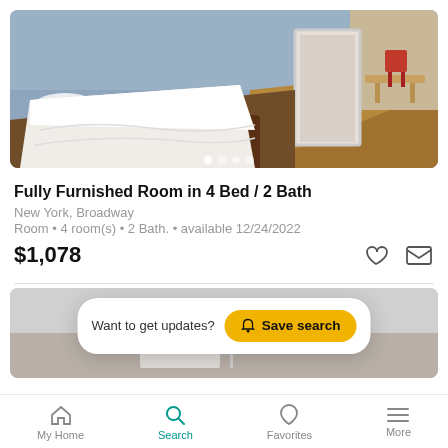[Figure (photo): Bedroom with white bedding on a bed with dark wood frame, grey walls, white door, hardwood floors with glimpse of dining area]
Fully Furnished Room in 4 Bed / 2 Bath
New York, Broadway
Room • 4 room(s) • 2 Bath. • available 12/24/2022
$1,078
[Figure (photo): Second listing photo partially visible — interior room, grey tones]
Want to get updates? Save search
My Home  Search  Favorites  More